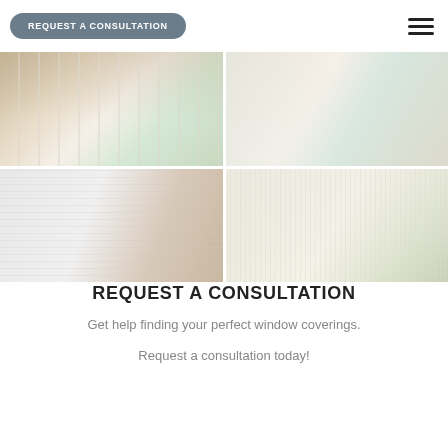REQUEST A CONSULTATION
[Figure (photo): Four interior photos showing window coverings: (1) room with white plantation shutters on sliding glass door, patterned rug; (2) dining area with sheer vertical blinds, family scene; (3) frosted sliding panel blinds with tree plant in front of brick wall; (4) bright living room with cream vertical sheers/blinds, sofa, dog.]
REQUEST A CONSULTATION
Get help finding your perfect window coverings.
Request a consultation today!